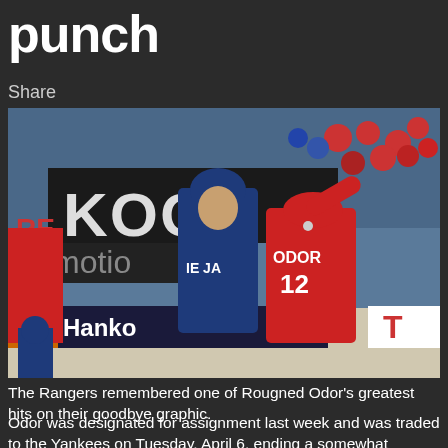punch
Share
[Figure (photo): Baseball photo showing Rougned Odor (#12) in a red Texas Rangers uniform winding up to punch Jose Bautista of the Toronto Blue Jays. A Hanko advertisement banner is visible in the background, along with stadium crowd.]
The Rangers remembered one of Rougned Odor’s greatest hits on their goodbye graphic.
Odor was designated for assignment last week and was traded to the Yankees on Tuesday, April 6, ending a somewhat uneventful career in Texas. “Somewhat” is the